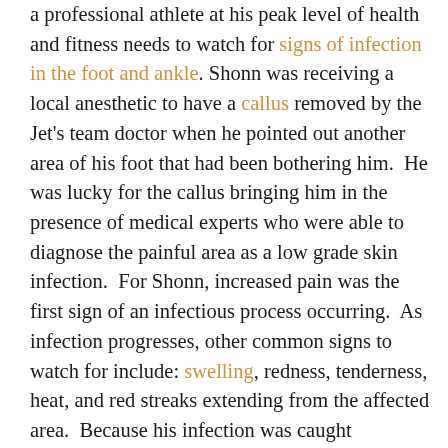a professional athlete at his peak level of health and fitness needs to watch for signs of infection in the foot and ankle. Shonn was receiving a local anesthetic to have a callus removed by the Jet's team doctor when he pointed out another area of his foot that had been bothering him.  He was lucky for the callus bringing him in the presence of medical experts who were able to diagnose the painful area as a low grade skin infection.  For Shonn, increased pain was the first sign of an infectious process occurring.  As infection progresses, other common signs to watch for include: swelling, redness, tenderness, heat, and red streaks extending from the affected area.  Because his infection was caught